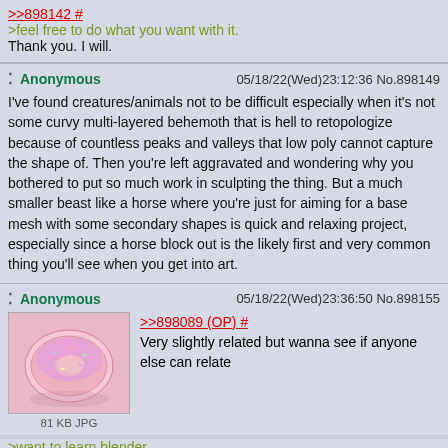>>898142 #
>feel free to do what you want with it.
Thank you. I will.
Anonymous 05/18/22(Wed)23:12:36 No.898149
I've found creatures/animals not to be difficult especially when it's not some curvy multi-layered behemoth that is hell to retopologize because of countless peaks and valleys that low poly cannot capture the shape of. Then you're left aggravated and wondering why you bothered to put so much work in sculpting the thing. But a much smaller beast like a horse where you're just for aiming for a base mesh with some secondary shapes is quick and relaxing project, especially since a horse block out is the likely first and very common thing you'll see when you get into art.
Anonymous 05/18/22(Wed)23:36:50 No.898155
>>898089 (OP) #
Very slightly related but wanna see if anyone else can relate
81 KB JPG
>want to learn blender
>start with donut meme tutorial
>barely started and i imagine the donut is a pony butthole